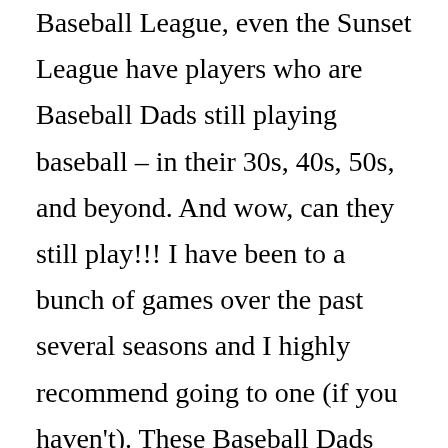Baseball League, even the Sunset League have players who are Baseball Dads still playing baseball – in their 30s, 40s, 50s, and beyond. And wow, can they still play!!! I have been to a bunch of games over the past several seasons and I highly recommend going to one (if you haven't). These Baseball Dads can hit, smoke home runs, throw strikes, make routine plays, and the occasional highlight play as well. The fun thing for me is when I go to the games is seeing the reactions of the wives, the kids,